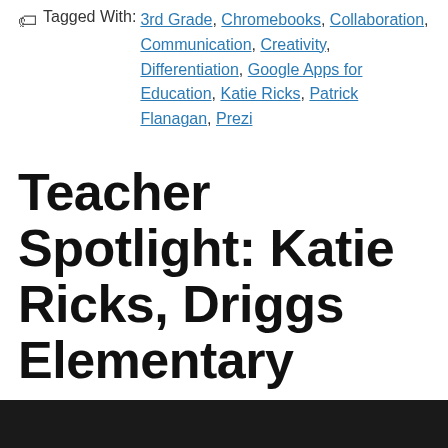Tagged With: 3rd Grade, Chromebooks, Collaboration, Communication, Creativity, Differentiation, Google Apps for Education, Katie Ricks, Patrick Flanagan, Prezi
Teacher Spotlight: Katie Ricks, Driggs Elementary
January 2015  Josh Whiting
[Figure (photo): Dark/black image strip at the bottom of the page, likely the top of a photo]